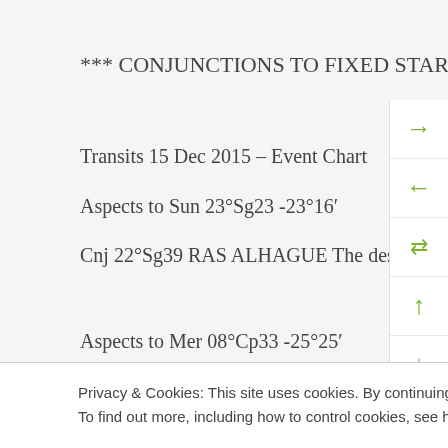*** CONJUNCTIONS TO FIXED STARS ***
Transits 15 Dec 2015 – Event Chart
Aspects to Sun 23°Sg23 -23°16′
Cnj 22°Sg39 RAS ALHAGUE The desire to heal a wound.
Aspects to Mer 08°Cp33 -25°25′
Privacy & Cookies: This site uses cookies. By continuing to use this website, you agree to their use.
To find out more, including how to control cookies, see here: Cookie Policy
Close and accept